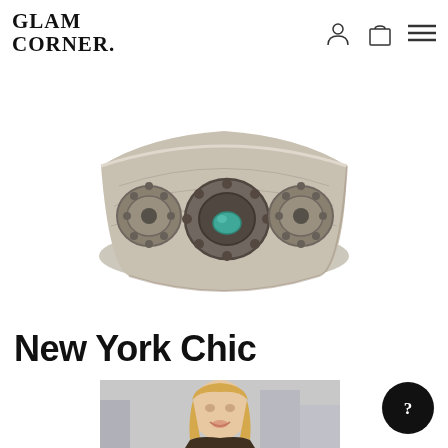GLAM CORNER.
[Figure (photo): Silver ornate cuff bracelet with turquoise stone center on white background]
New York Chic
[Figure (photo): Blonde woman smiling outdoors in city setting]